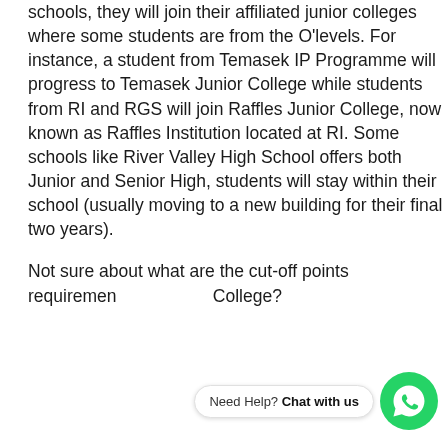schools, they will join their affiliated junior colleges where some students are from the O'levels. For instance, a student from Temasek IP Programme will progress to Temasek Junior College while students from RI and RGS will join Raffles Junior College, now known as Raffles Institution located at RI. Some schools like River Valley High School offers both Junior and Senior High, students will stay within their school (usually moving to a new building for their final two years).
Not sure about what are the cut-off points requirements for Junior College?